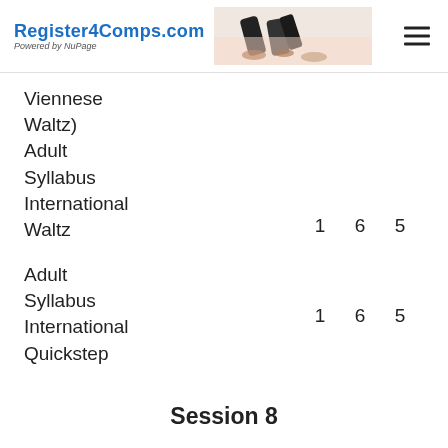Register4Comps.com Powered by NuPage
Viennese Waltz)
Adult
Syllabus
International
Waltz
Adult
1   6   5
Adult
Syllabus
International
Quickstep
1   6   5
Session 8